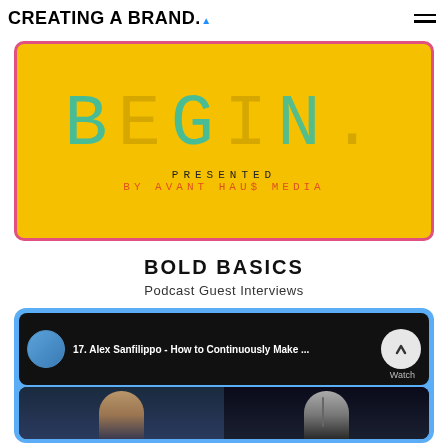CREATING A BRAND.
[Figure (illustration): Podcast promotional poster with yellow background, pink/red border, large stylized text 'BEGIN.' in teal/transparent letters, and text 'PRESENTED BY AVANT HAUS MEDIA' below in dark and orange-red monospace font.]
BOLD BASICS
Podcast Guest Interviews
[Figure (screenshot): Video player card with blue background showing a podcast episode titled '17. Alex Sanfilippo - How to Continuously Make ...' with a circular play/chevron button and 'Watch' label, and below a split-screen thumbnail of two podcast participants.]